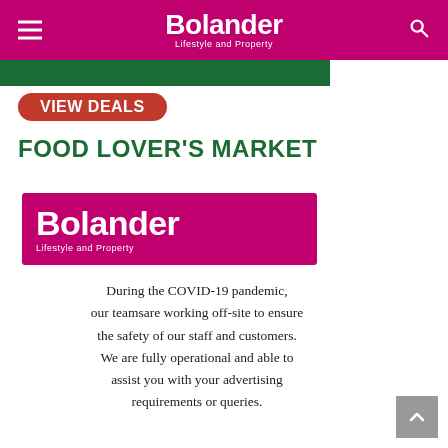Bolander Lifestyle and Property
[Figure (logo): Green banner strip at top below nav]
[Figure (logo): Red pill-shaped VIEW DEALS button]
FOOD LOVER'S MARKET
[Figure (logo): Bolander Lifestyle and Property logo on magenta/pink background]
During the COVID-19 pandemic, our teamsare working off-site to ensure the safety of our staff and customers. We are fully operational and able to assist you with your advertising requirements or queries.